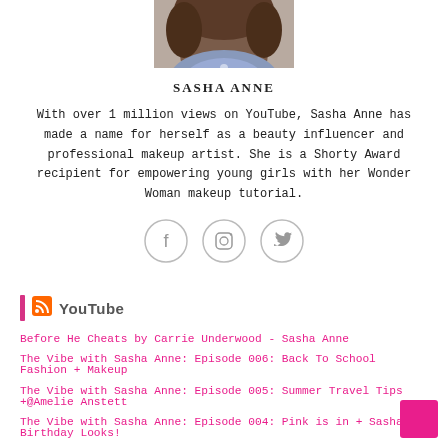[Figure (photo): Circular cropped profile photo of Sasha Anne, showing top of head with brown hair and patterned top]
SASHA ANNE
With over 1 million views on YouTube, Sasha Anne has made a name for herself as a beauty influencer and professional makeup artist. She is a Shorty Award recipient for empowering young girls with her Wonder Woman makeup tutorial.
[Figure (infographic): Social media icons: Facebook, Instagram, Twitter in circular outlines]
YouTube
Before He Cheats by Carrie Underwood - Sasha Anne
The Vibe with Sasha Anne: Episode 006: Back To School Fashion + Makeup
The Vibe with Sasha Anne: Episode 005: Summer Travel Tips +@Amelie Anstett
The Vibe with Sasha Anne: Episode 004: Pink is in + Sasha's Birthday Looks!
Grease VIP Opening Night GRWM - Sasha Anne
The Vibe with Sasha Anne: Episode 003: Summer Shades + Pretty Woman the Musical
The Vibe with Sasha Anne: Episode 002: Blush, Gloss + Scarlett Bella Song!